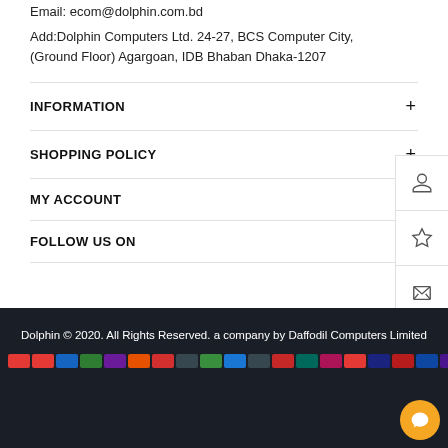Email: ecom@dolphin.com.bd
Add:Dolphin Computers Ltd. 24-27, BCS Computer City, (Ground Floor) Agargoan, IDB Bhaban Dhaka-1207
INFORMATION
SHOPPING POLICY
MY ACCOUNT
FOLLOW US ON
Dolphin © 2020. All Rights Reserved. a company by Daffodil Computers Limited